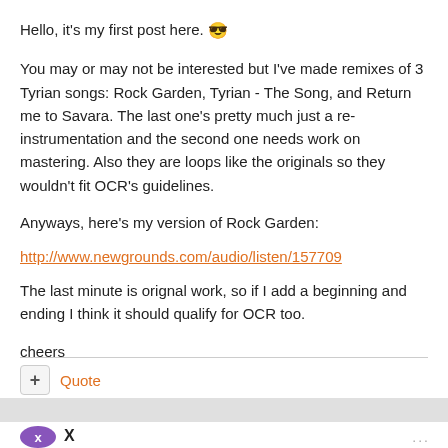Hello, it's my first post here. 😎
You may or may not be interested but I've made remixes of 3 Tyrian songs: Rock Garden, Tyrian - The Song, and Return me to Savara. The last one's pretty much just a re-instrumentation and the second one needs work on mastering. Also they are loops like the originals so they wouldn't fit OCR's guidelines.
Anyways, here's my version of Rock Garden:
http://www.newgrounds.com/audio/listen/157709
The last minute is orignal work, so if I add a beginning and ending I think it should qualify for OCR too.
cheers
+ Quote
X